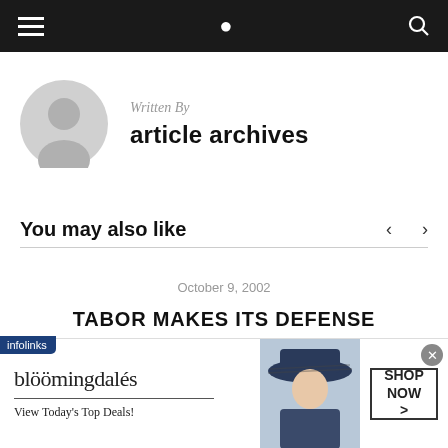Navigation bar with menu and search icons
Written By
article archives
You may also like
October 9, 2002
TABOR MAKES ITS DEFENSE
[Figure (photo): Bloomingdale's advertisement banner: logo, tagline 'View Today's Top Deals!', model in hat, SHOP NOW button]
infolinks